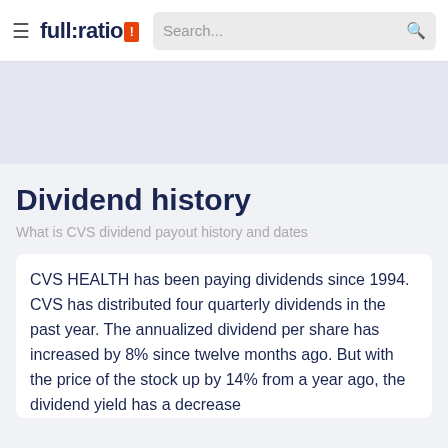full:ratio | Search...
[Figure (other): Advertisement banner placeholder area]
Dividend history
What is CVS dividend payout history and dates
CVS HEALTH has been paying dividends since 1994. CVS has distributed four quarterly dividends in the past year. The annualized dividend per share has increased by 8% since twelve months ago. But with the price of the stock up by 14% from a year ago, the dividend yield has a decrease